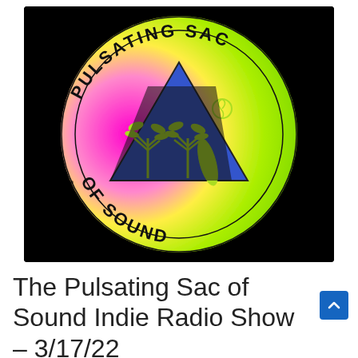[Figure (logo): Circular stamp-style logo for 'Pulsating Sac of Sound' on a black background. The circle has a rainbow gradient (magenta/pink on the left, yellow-green on the right) with grunge/spatter texture. Text 'PULSATING SAC OF SOUND' curves around the inner ring in black bold letters. Center features a blue downward-pointing triangle containing palm trees and a surfboard in yellow-green line art.]
The Pulsating Sac of Sound Indie Radio Show – 3/17/22